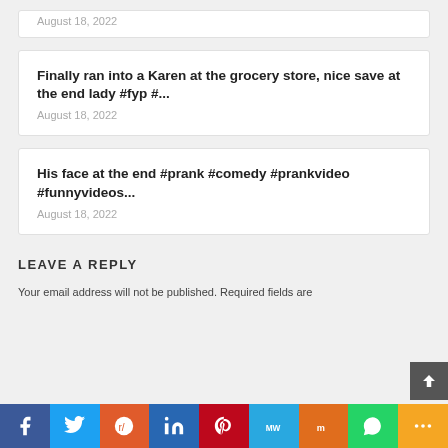August 18, 2022
Finally ran into a Karen at the grocery store, nice save at the end lady #fyp #...
August 18, 2022
His face at the end #prank #comedy #prankvideo #funnyvideos...
August 18, 2022
LEAVE A REPLY
Your email address will not be published. Required fields are